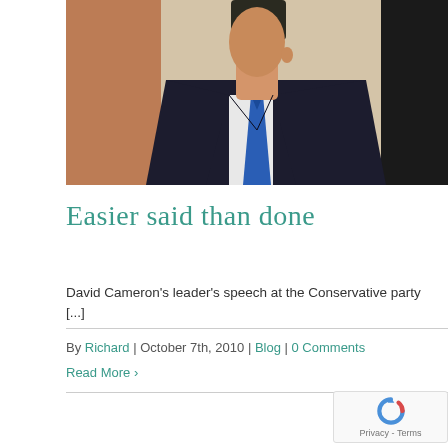[Figure (photo): Photograph of a man in a dark suit with a blue tie, partial head visible, standing in front of a building with stone/brick exterior]
Easier said than done
David Cameron's leader's speech at the Conservative party [...]
By Richard | October 7th, 2010 | Blog | 0 Comments
Read More >